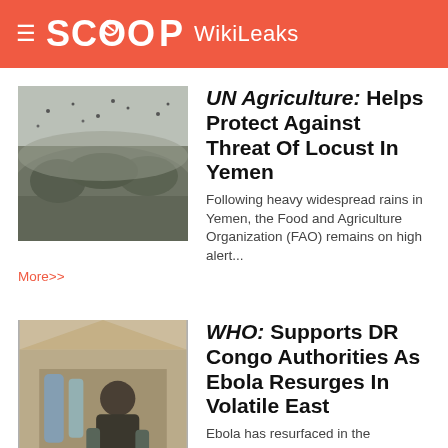SCOOP WikiLeaks
[Figure (photo): Locust swarm over agricultural field in Yemen]
UN Agriculture: Helps Protect Against Threat Of Locust In Yemen
Following heavy widespread rains in Yemen, the Food and Agriculture Organization (FAO) remains on high alert... More>>
[Figure (photo): DR Congo Ebola medical worker in protective gear]
WHO: Supports DR Congo Authorities As Ebola Resurges In Volatile East
Ebola has resurfaced in the Democratic Republic of the Congo (DRC) following confirmation of a case in the restive eastern province of North Kivu... More>>